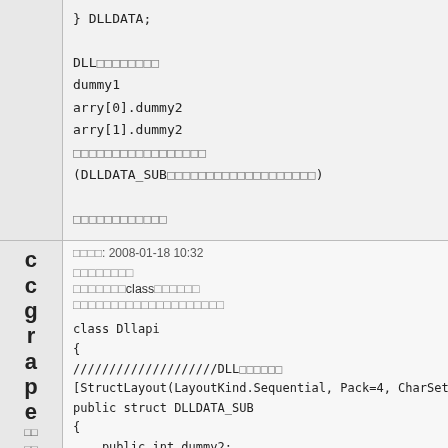} DLLDATA;

DLL□□□□□□□□
dummy1
arry[0].dummy2
arry[1].dummy2
□□□□□□□□□□□□□□□□□
(DLLDATA_SUB□□□□□□□□□□□□□□□□□□□)

□□□□□□□□□□□□
□□□□: 2008-01-18 10:32
□□□□□□□□
□□□□□□□class□□□□□□
□□□□□□□□□□□□□□□□□□□□
class Dllapi
{
////////////////////DLL□□□□□□
[StructLayout(LayoutKind.Sequential, Pack=4, CharSet=Char
public struct DLLDATA_SUB
{
public int dummy2;
}